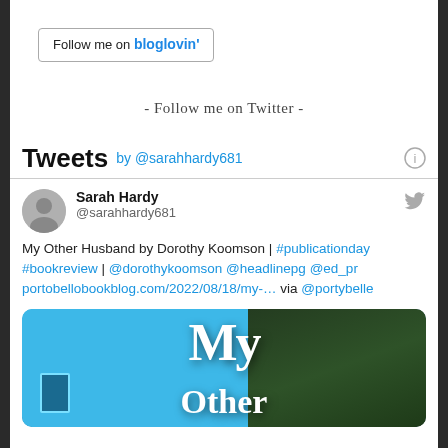[Figure (screenshot): Follow me on bloglovin' button with border]
- Follow me on Twitter -
Tweets by @sarahhardy681
Sarah Hardy @sarahhardy681 My Other Husband by Dorothy Koomson | #publicationday #bookreview | @dorothykoomson @headlinepg @ed_pr portobellobookblog.com/2022/08/18/my-… via @portybelle
[Figure (photo): Book cover image for 'My Other' (partial) showing a blue building facade and dark green foliage, with large white serif text reading 'My Other']